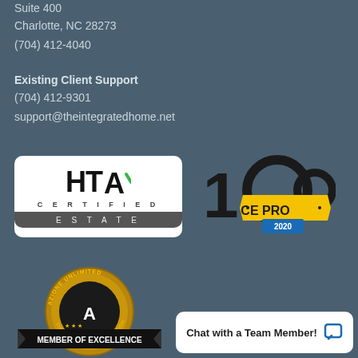Suite 400
Charlotte, NC 28273
(704) 412-4040
Existing Client Support
(704) 412-9301
support@theintegratedhome.net
[Figure (logo): HTA Certified Estate logo - white box with HTA letters and green checkmark, CERTIFIED text, and dark ESTATE bar]
[Figure (logo): CE PRO 100 2020 badge - black and gold 100 numbers with CE PRO banner and blue 2020 ribbon]
[Figure (logo): Azione Unlimited Member of Excellence circular badge - gold and black with THE SMART HOME ASSOCIATION text]
Chat with a Team Member!